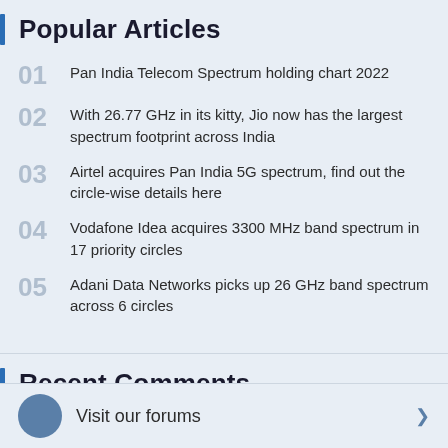Popular Articles
01 Pan India Telecom Spectrum holding chart 2022
02 With 26.77 GHz in its kitty, Jio now has the largest spectrum footprint across India
03 Airtel acquires Pan India 5G spectrum, find out the circle-wise details here
04 Vodafone Idea acquires 3300 MHz band spectrum in 17 priority circles
05 Adani Data Networks picks up 26 GHz band spectrum across 6 circles
Recent Comments
Visit our forums